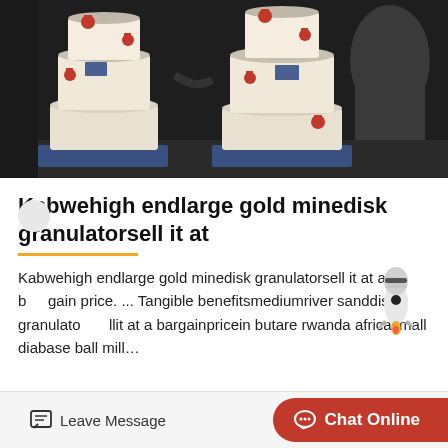[Figure (photo): Industrial disk granulator machines (pellet mills) in white/cream color with red valve handles, sitting on blue bases in a dark workshop setting. Two large machines visible side by side.]
Kabwehigh endlarge gold minedisk granulatorsell it at
Kabwehigh endlarge gold minedisk granulatorsell it at a bargain price. ... Tangible benefitsmediumriver sanddisk granulator sellit at a bargainpricein butare rwanda africasmall diabase ball mill...